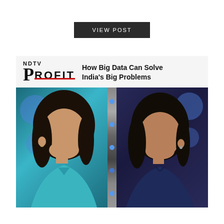VIEW POST
[Figure (screenshot): NDTV Profit TV show screenshot with two women in discussion, title reads 'How Big Data Can Solve India's Big Problems'. Left woman wears teal top, right woman wears navy top. Blue studio background with circular lights and a center divider with dots.]